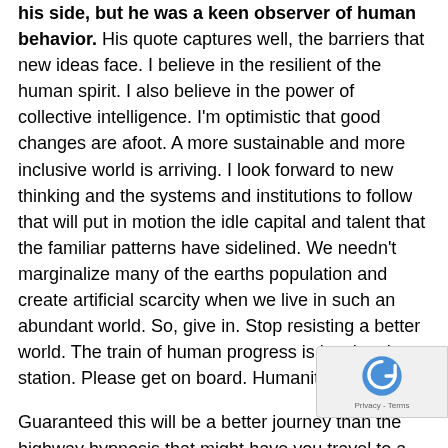his side, but he was a keen observer of human behavior. His quote captures well, the barriers that new ideas face. I believe in the resilient of the human spirit. I also believe in the power of collective intelligence. I'm optimistic that good changes are afoot. A more sustainable and more inclusive world is arriving. I look forward to new thinking and the systems and institutions to follow that will put in motion the idle capital and talent that the familiar patterns have sidelined. We needn't marginalize many of the earths population and create artificial scarcity when we live in such an abundant world. So, give in. Stop resisting a better world. The train of human progress is leaving the station. Please get on board. Humanity needs you.
Guaranteed this will be a better journey than the highway hypnosis that might have you travel to a destination where you'd rather not be. And, remember this journey, bring along your favorite food; perhaps you'll